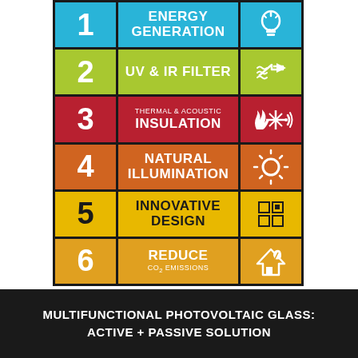[Figure (infographic): 6-row infographic grid listing features of multifunctional photovoltaic glass: 1 Energy Generation (blue), 2 UV & IR Filter (yellow-green), 3 Thermal & Acoustic Insulation (red), 4 Natural Illumination (orange), 5 Innovative Design (yellow), 6 Reduce CO2 Emissions (amber). Each row has a number cell, a text label cell, and an icon cell.]
MULTIFUNCTIONAL PHOTOVOLTAIC GLASS: ACTIVE + PASSIVE SOLUTION